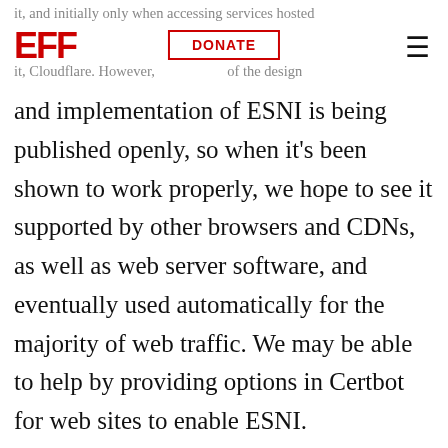it, and initially only when accessing services hosted
EFF [logo] DONATE [button] ≡ [menu]
it, Cloudflare. However, as part of the design
and implementation of ESNI is being published openly, so when it's been shown to work properly, we hope to see it supported by other browsers and CDNs, as well as web server software, and eventually used automatically for the majority of web traffic. We may be able to help by providing options in Certbot for web sites to enable ESNI.
We're thrilled about Cloudflare's leadership in this area and all the work that they and the IETF community have done to make ESNI a reality. As it gets rolled out, we think ESNI will give a huge